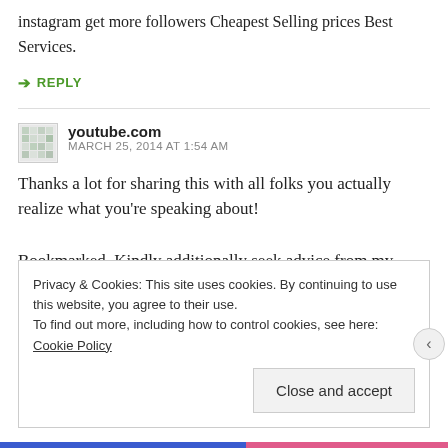instagram get more followers Cheapest Selling prices Best Services.
↳ REPLY
youtube.com
MARCH 25, 2014 AT 1:54 AM
Thanks a lot for sharing this with all folks you actually realize what you're speaking about!

Bookmarked. Kindly additionally seek advice from my website =).
Privacy & Cookies: This site uses cookies. By continuing to use this website, you agree to their use.
To find out more, including how to control cookies, see here: Cookie Policy
Close and accept